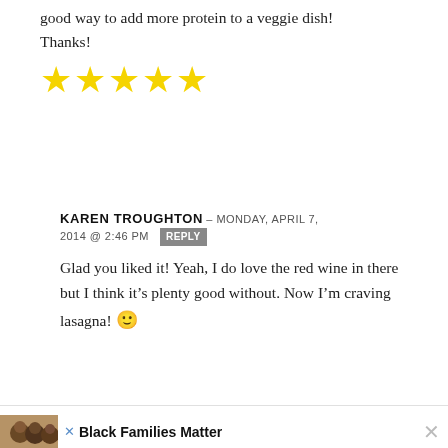good way to add more protein to a veggie dish! Thanks!
[Figure (other): Five yellow star rating icons]
KAREN TROUGHTON — MONDAY, APRIL 7, 2014 @ 2:46 PM  REPLY
Glad you liked it! Yeah, I do love the red wine in there but I think it's plenty good without. Now I'm craving lasagna! 🙂
[Figure (photo): Advertisement showing three people smiling with text Black Families Matter and a close button]